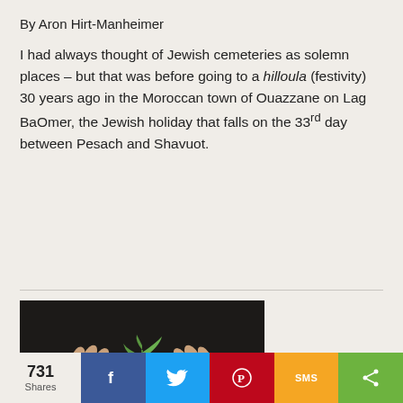By Aron Hirt-Manheimer
I had always thought of Jewish cemeteries as solemn places – but that was before going to a hilloula (festivity) 30 years ago in the Moroccan town of Ouazzane on Lag BaOmer, the Jewish holiday that falls on the 33rd day between Pesach and Shavuot.
[Figure (photo): Two hands cupped together holding a small green seedling/plant against dark soil background]
731 Shares | Facebook | Twitter | Pinterest | SMS | Share